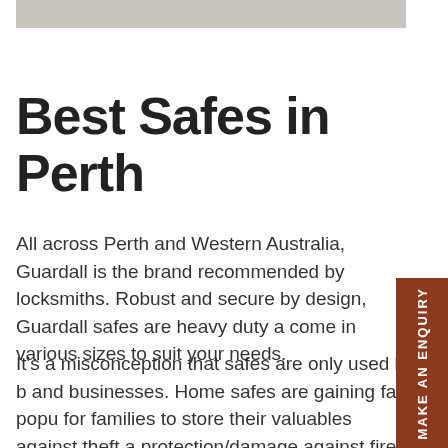[Figure (photo): Partial cropped image at the top of the page, appears to be a product or interior photo in gray tones]
Best Safes in Perth
All across Perth and Western Australia, Guardall is the brand recommended by locksmiths. Robust and secure by design, Guardall safes are heavy duty and come in various sizes to suit your needs.
It's a misconception that safes are only used by banks and businesses. Home safes are gaining fast popularity for families to store their valuables against theft and protection/damage against fire. Guardall safes of